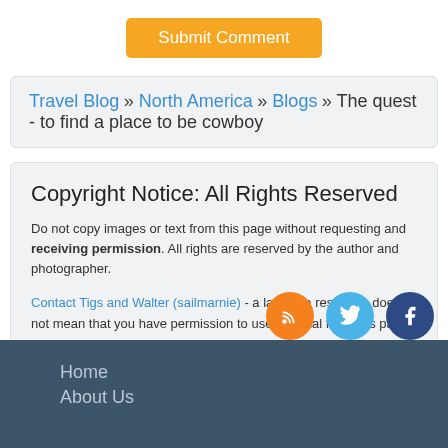[Figure (other): Orange 'Submit Comment' button]
Travel Blog » North America » Blogs » The quest - to find a place to be cowboy
Copyright Notice: All Rights Reserved
Do not copy images or text from this page without requesting and receiving permission. All rights are reserved by the author and photographer.
Contact Tigs and Walter (sailmarnie) - a lack of a response does not mean that you have permission to use material from this page.
Home
About Us